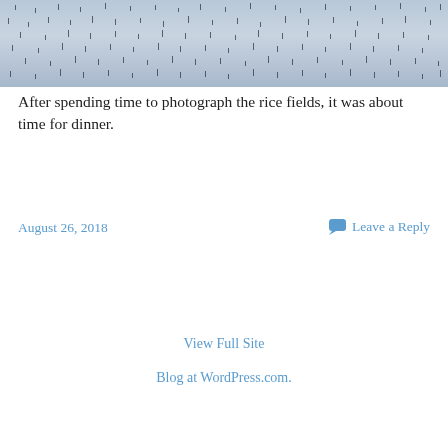[Figure (photo): Aerial or close-up view of rice fields with rice seedlings planted in rows, appearing as small dark shoots against a light grayish-blue flooded field surface.]
After spending time to photograph the rice fields, it was about time for dinner.
August 26, 2018
Leave a Reply
View Full Site
Blog at WordPress.com.